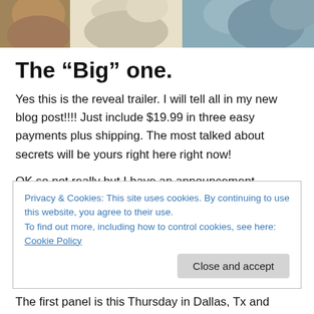[Figure (illustration): Partial illustration strip showing cartoon/anime-style characters — brown, beige/tan, and blue-grey tones, cropped at top of page]
The “Big” one.
Yes this is the reveal trailer. I will tell all in my new blog post!!!! Just include $19.99 in three easy payments plus shipping. The most talked about secrets will be yours right here right now!
OK so not really but I have an announcement.
Privacy & Cookies: This site uses cookies. By continuing to use this website, you agree to their use.
To find out more, including how to control cookies, see here: Cookie Policy
The first panel is this Thursday in Dallas, Tx and Akon 26